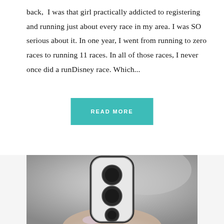back,  I was that girl practically addicted to registering and running just about every race in my area. I was SO serious about it. In one year, I went from running to zero races to running 11 races. In all of those races, I never once did a runDisney race. Which...
[Figure (other): A teal/turquoise rectangular button with the text READ MORE in white uppercase letters]
[Figure (photo): A close-up photo of a person holding a white and black electronic device (appears to be a remote or handheld gadget with circular buttons) against a blurred gray background]